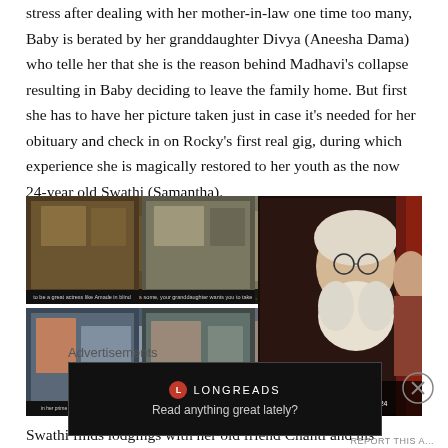stress after dealing with her mother-in-law one time too many, Baby is berated by her granddaughter Divya (Aneesha Dama) who telle her that she is the reason behind Madhavi's collapse resulting in Baby deciding to leave the family home. But first she has to have her picture taken just in case it's needed for her obituary and check in on Rocky's first real gig, during which experience she is magically restored to her youth as the now 24-year old Swathi (Samantha).
[Figure (photo): A collage of four smaller movie stills on the left and one larger still on the right showing scenes from an Indian film. The smaller stills show domestic and hospital scenes; the larger still shows an elderly white-bearded man with glasses.]
Swathi finds lodgings with her old friend Chanti and his prickly daughter Anasuya (Sunayan) who has never liked Baby.
Advertisements
[Figure (screenshot): A dark advertisement banner for Longreads with logo and tagline 'Read anything great lately?']